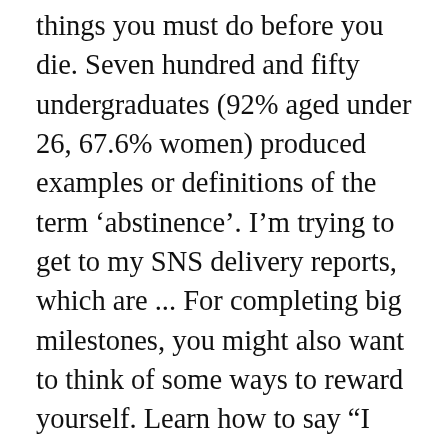things you must do before you die. Seven hundred and fifty undergraduates (92% aged under 26, 67.6% women) produced examples or definitions of the term ‘abstinence’. I’m trying to get to my SNS delivery reports, which are ... For completing big milestones, you might also want to think of some ways to reward yourself. Learn how to say “I love you” in 10 languages. The tasks might take some time to complete you will commit your precious time and energy to make sure you will complete them. I love outdoor activities. The one main obstacle to achieving many of the items on your bucket list is being to afford these ideas and/or learn how to implement them. Honorary Member: The Great Pyramid of Giza in Egypt, Christ the